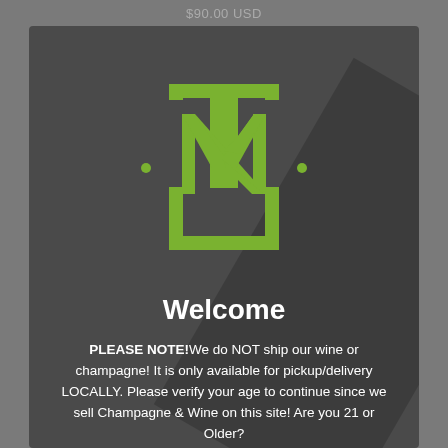$90.00 USD
[Figure (logo): Green monogram logo with letters T, M, N intertwined with decorative dots on a dark background]
Welcome
PLEASE NOTE!We do NOT ship our wine or champagne! It is only available for pickup/delivery LOCALLY. Please verify your age to continue since we sell Champagne & Wine on this site! Are you 21 or Older?